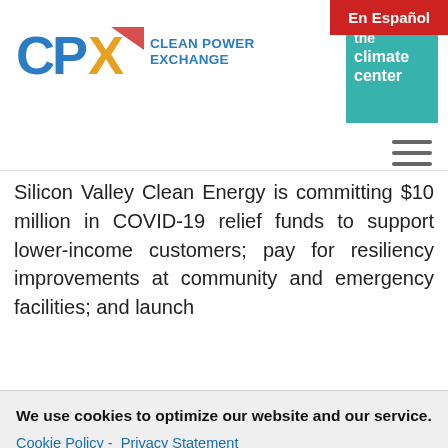En Español
[Figure (logo): CPX Clean Power Exchange logo with colorful X mark]
[Figure (logo): The Climate Center logo in teal]
Silicon Valley Clean Energy is committing $10 million in COVID-19 relief funds to support lower-income customers; pay for resiliency improvements at community and emergency facilities; and launch
We use cookies to optimize our website and our service. Cookie Policy - Privacy Statement
Accept
hich will result in an ong one of